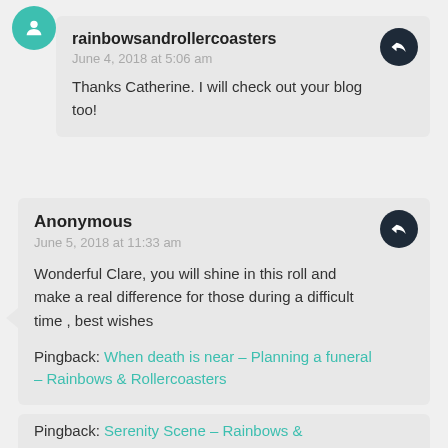rainbowsandrollercoasters
June 4, 2018 at 5:06 am
Thanks Catherine. I will check out your blog too!
Anonymous
June 5, 2018 at 11:33 am
Wonderful Clare, you will shine in this roll and make a real difference for those during a difficult time , best wishes
Pingback: When death is near – Planning a funeral – Rainbows & Rollercoasters
Pingback: Serenity Scene – Rainbows &